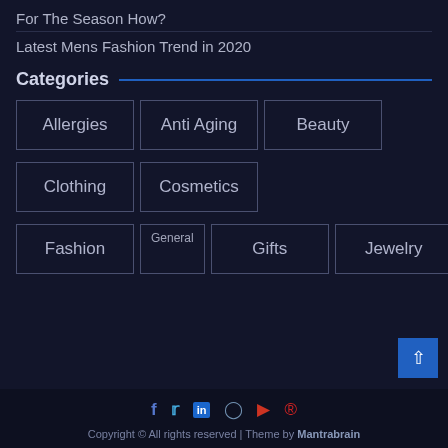For The Season How?
Latest Mens Fashion Trend in 2020
Categories
Allergies
Anti Aging
Beauty
Clothing
Cosmetics
Fashion
General
Gifts
Jewelry
Copyright © All rights reserved | Theme by Mantrabrain